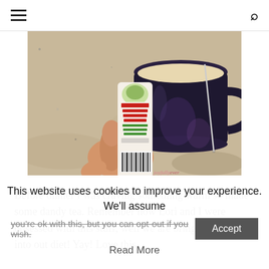≡ (hamburger menu) | 🔍 (search icon)
[Figure (photo): A hand holding a single-serve packet of Dandy Blend Instant Herbal Beverage with Dandelion next to a dark ceramic mug containing a creamy warm beverage on a granite countertop. The packet label reads: Dandy Blend™ Instant Herbal Beverage with Dandelion, 100% Caffeine-Free, No Acidity, No Bitterness, NET WT 1 TSP (3.8g). A barcode is visible at the bottom of the packet. A watermark reads joyfullyever.]
Before dinner I was craving something warm so made some dandy tea. Remember how Lori and I were obsessed with this stuff, well we are bringing it back into out diet! Yay! Love this
This website uses cookies to improve your experience. We'll assume you're ok with this, but you can opt-out if you wish.
Read More